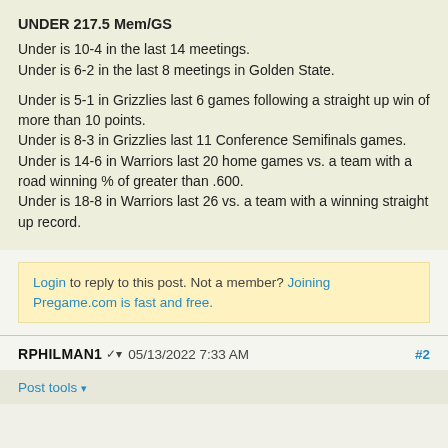UNDER 217.5 Mem/GS
Under is 10-4 in the last 14 meetings.
Under is 6-2 in the last 8 meetings in Golden State.

Under is 5-1 in Grizzlies last 6 games following a straight up win of more than 10 points.
Under is 8-3 in Grizzlies last 11 Conference Semifinals games.
Under is 14-6 in Warriors last 20 home games vs. a team with a road winning % of greater than .600.
Under is 18-8 in Warriors last 26 vs. a team with a winning straight up record.
Login to reply to this post. Not a member? Joining Pregame.com is fast and free.
RPHILMAN1  05/13/2022 7:33 AM  #2
Post tools